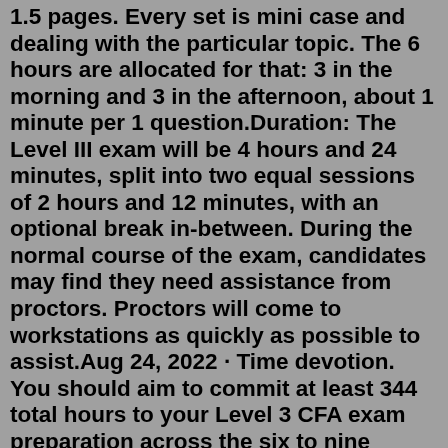1.5 pages. Every set is mini case and dealing with the particular topic. The 6 hours are allocated for that: 3 in the morning and 3 in the afternoon, about 1 minute per 1 question.Duration: The Level III exam will be 4 hours and 24 minutes, split into two equal sessions of 2 hours and 12 minutes, with an optional break in-between. During the normal course of the exam, candidates may find they need assistance from proctors. Proctors will come to workstations as quickly as possible to assist.Aug 24, 2022 · Time devotion. You should aim to commit at least 344 total hours to your Level 3 CFA exam preparation across the six to nine months of study. If that quantity intimidates you, consider spreading your study out over nine months rather than six. On average, you'd just have to commit about 1 hour and 25 minutes every day to your CFA Level 3 ... According to the CFA Institute, the historical passage rates for both Levels I and Level II are between 40% and 50%. But Level III has a sharply greater pass rate. As per Bloomberg, June 2018 exams saw around 43%